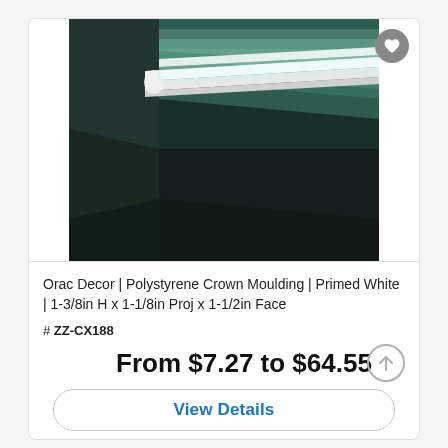[Figure (photo): Product photo of white crown moulding installed at ceiling/wall junction in a dark room with teal/green ambient lighting glowing from behind the moulding]
Orac Decor | Polystyrene Crown Moulding | Primed White | 1-3/8in H x 1-1/8in Proj x 1-1/2in Face
# ZZ-CX188
From $7.27 to $64.55
View Details